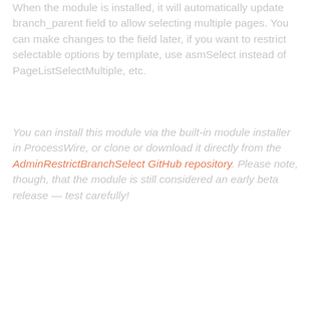When the module is installed, it will automatically update branch_parent field to allow selecting multiple pages. You can make changes to the field later, if you want to restrict selectable options by template, use asmSelect instead of PageListSelectMultiple, etc.
You can install this module via the built-in module installer in ProcessWire, or clone or download it directly from the AdminRestrictBranchSelect GitHub repository. Please note, though, that the module is still considered an early beta release — test carefully!